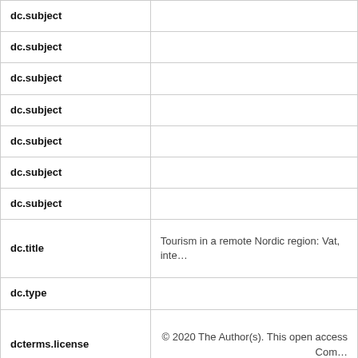| Field | Value |
| --- | --- |
| dc.subject |  |
| dc.subject |  |
| dc.subject |  |
| dc.subject |  |
| dc.subject |  |
| dc.subject |  |
| dc.subject |  |
| dc.title | Tourism in a remote Nordic region: Vat, inte… |
| dc.type |  |
| dcterms.license | © 2020 The Author(s). This open access… Com… |
| dc.description.version |  |
| dc.identifier.doi |  |
| dc.relation.url | https://www.cogentoa.com/article… |